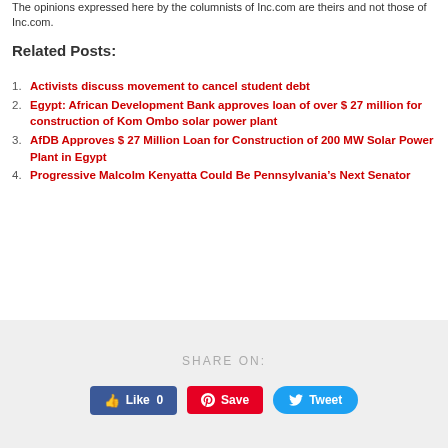The opinions expressed here by the columnists of Inc.com are theirs and not those of Inc.com.
Related Posts:
Activists discuss movement to cancel student debt
Egypt: African Development Bank approves loan of over $ 27 million for construction of Kom Ombo solar power plant
AfDB Approves $ 27 Million Loan for Construction of 200 MW Solar Power Plant in Egypt
Progressive Malcolm Kenyatta Could Be Pennsylvania’s Next Senator
[Figure (other): Share on section with Facebook Like button (Like 0), Pinterest Save button, and Twitter Tweet button]